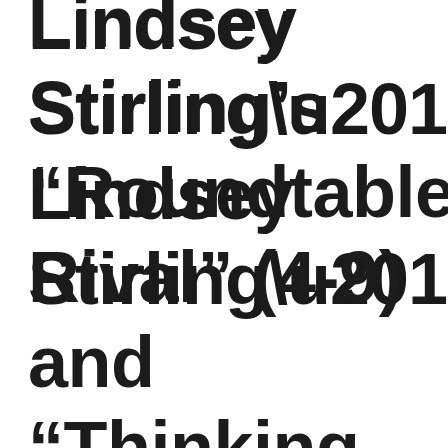Lindsey Stirling’s “Roundtable Rival” (4-9) and “Thinking…